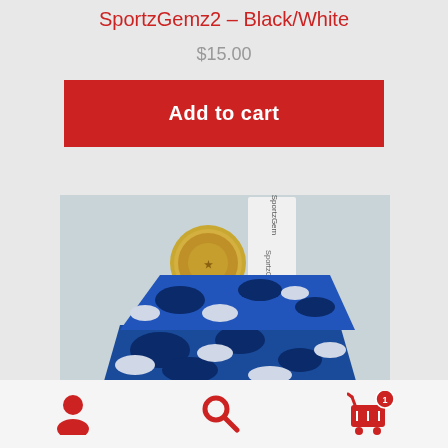SportzGemz2 – Black/White
$15.00
Add to cart
[Figure (photo): Product photo showing a blue camouflage fabric pouch/glove next to a coin for size reference, with a white label reading 'SportzGemz' partially visible]
[Figure (other): Bottom navigation bar with user/account icon, search icon, and shopping cart icon with badge showing quantity 1]